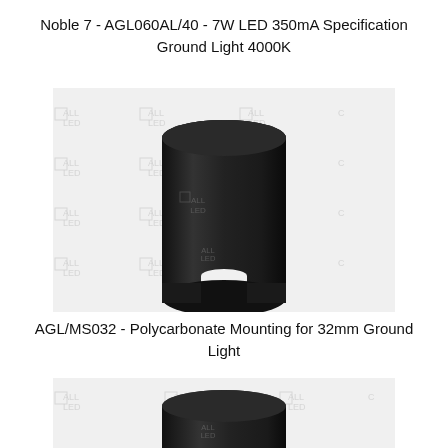Noble 7 - AGL060AL/40 - 7W LED 350mA Specification Ground Light 4000K
[Figure (photo): Black cylindrical ground light component (Noble 7 AGL060AL/40) with a notch at the bottom, shown against a watermarked background with ALL LED logo repeated]
AGL/MS032 - Polycarbonate Mounting for 32mm Ground Light
[Figure (photo): Black cylindrical polycarbonate mounting component (AGL/MS032) partially visible at the bottom of the page, shown against a watermarked background with ALL LED logo repeated]